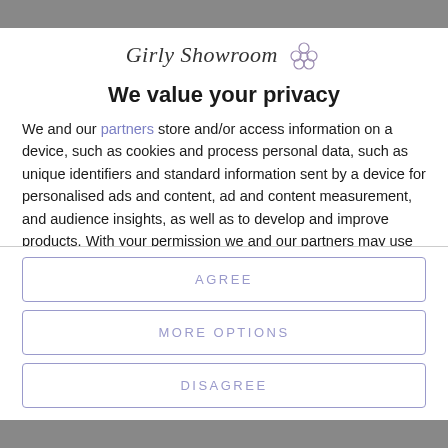[Figure (logo): Girly Showroom logo with cursive text and flower icon]
We value your privacy
We and our partners store and/or access information on a device, such as cookies and process personal data, such as unique identifiers and standard information sent by a device for personalised ads and content, ad and content measurement, and audience insights, as well as to develop and improve products. With your permission we and our partners may use precise geolocation data and identification through device scanning. You may click to consent to our and our partners'
AGREE
MORE OPTIONS
DISAGREE